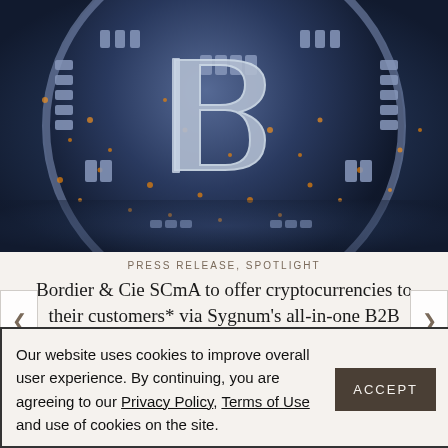[Figure (photo): Close-up macro photo of a Bitcoin coin styled as a circuit board, with the 'B' symbol and electronic components visible, in blue-grey and orange/gold tones.]
PRESS RELEASE, SPOTLIGHT
Bordier & Cie SCmA to offer cryptocurrencies to their customers* via Sygnum's all-in-one B2B banking platform
Our website uses cookies to improve overall user experience. By continuing, you are agreeing to our Privacy Policy, Terms of Use and use of cookies on the site.